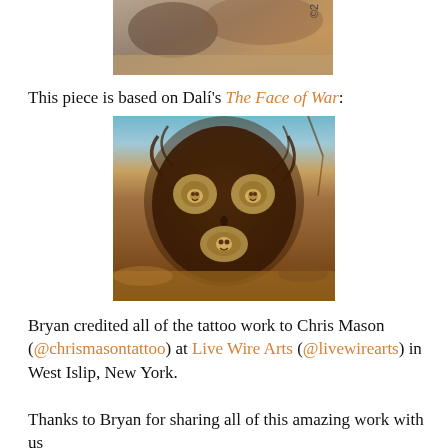[Figure (photo): Top portion of a tattoo photograph, partially cropped, showing dark detailed inkwork. A small watermark or copyright symbol appears in the upper right corner.]
This piece is based on Dalí's The Face of War:
[Figure (photo): Reproduction of Salvador Dalí's painting 'The Face of War' — a surrealist image of a dark, skull-like face in a desert landscape, with smaller screaming faces nested inside the eye sockets and mouth.]
Bryan credited all of the tattoo work to Chris Mason (@chrismasontattoo) at Live Wire Arts (@livewirearts) in West Islip, New York.
Thanks to Bryan for sharing all of this amazing work with us